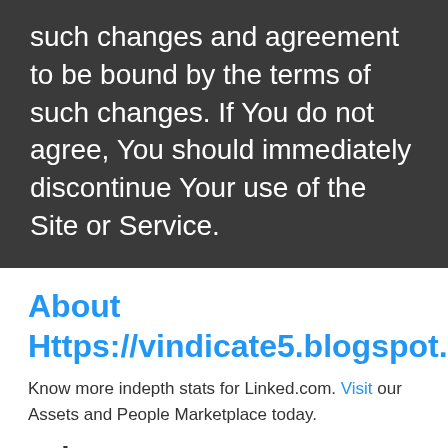such changes and agreement to be bound by the terms of such changes. If You do not agree, You should immediately discontinue Your use of the Site or Service.
About Https://vindicate5.blogspot.com/
Know more indepth stats for Linked.com. Visit our Assets and People Marketplace today.
Other Assets